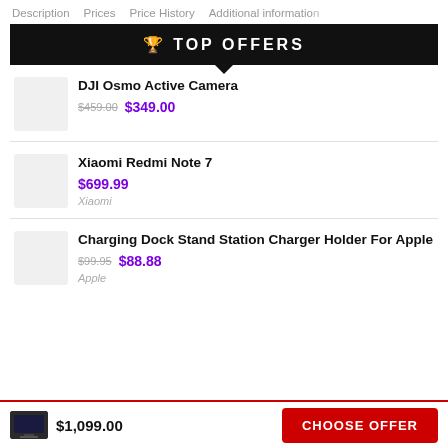Description  Prices  Price History  Additional information
TOP OFFERS
DJI Osmo Active Camera
$459.00 $349.00
Xiaomi Redmi Note 7
$699.99
Xiaomi
Charging Dock Stand Station Charger Holder For Apple
$99.95 $88.88
Apple
$1,099.00
CHOOSE OFFER